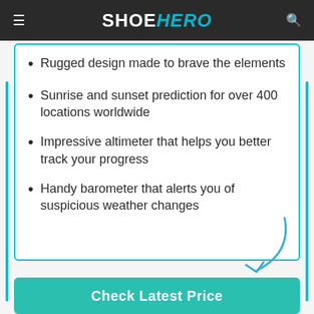SHOEHERO
Rugged design made to brave the elements
Sunrise and sunset prediction for over 400 locations worldwide
Impressive altimeter that helps you better track your progress
Handy barometer that alerts you of suspicious weather changes
Check Latest Price